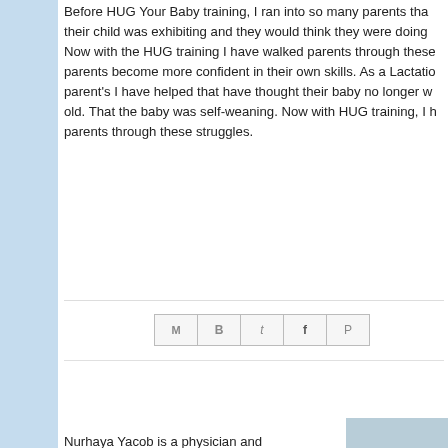Before HUG Your Baby training, I ran into so many parents that their child was exhibiting and they would think they were doing. Now with the HUG training I have walked parents through these parents become more confident in their own skills. As a Lactatio parent's I have helped that have thought their baby no longer w old. That the baby was self-weaning. Now with HUG training, I parents through these struggles.
[Figure (screenshot): Social sharing icons: email (M), Blogger (B), Twitter (t), Facebook (f), Pinterest (P)]
Malaysian Physician/Lactation Consul... Certified HUG Teacher
Nurhaya Yacob is a physician and lactation consultant in Penang, Malaysia. She shares her HUG Your Baby journey.
I am a medical doctor who is currently fully time lactation consultant serving my community. I can never
[Figure (photo): Photo of a woman (Nurhaya Yacob) wearing a blue outfit with city skyline in background]